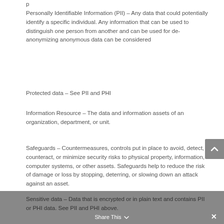Personally Identifiable Information (PII) – Any data that could potentially identify a specific individual. Any information that can be used to distinguish one person from another and can be used for de-anonymizing anonymous data can be considered
Protected data – See PII and PHI
Information Resource – The data and information assets of an organization, department, or unit.
Safeguards – Countermeasures, controls put in place to avoid, detect, counteract, or minimize security risks to physical property, information, computer systems, or other assets. Safeguards help to reduce the risk of damage or loss by stopping, deterring, or slowing down an attack against an asset.
Sensitive data – Data that is encrypted or in plain text and contains PII or PHI data. See PII and PHI above.